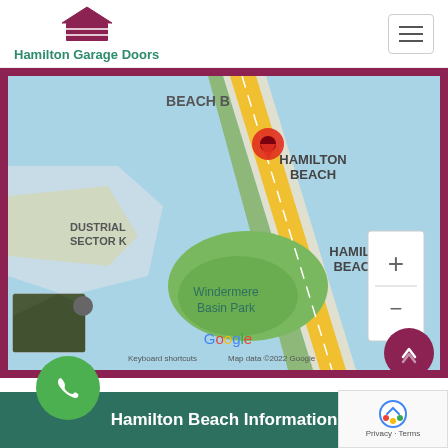Hamilton Garage Doors
[Figure (map): Google Map showing Hamilton Beach area with a red location pin marker, roads including a yellow highway, water bodies, green areas including Windermere Basin Park, labels for BEACH B, HAMILTON BEACH, HAMILTON BEACH C, INDUSTRIAL SECTOR K, Windermere Basin Park, Google logo, Keyboard shortcuts, Map data ©2022 Google, Terms of, plus/minus zoom controls, and a satellite thumbnail inset]
Hamilton Beach Information